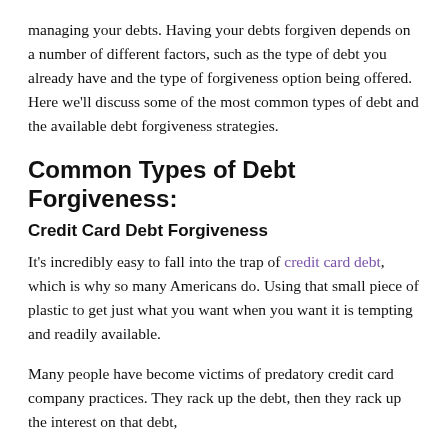managing your debts. Having your debts forgiven depends on a number of different factors, such as the type of debt you already have and the type of forgiveness option being offered. Here we'll discuss some of the most common types of debt and the available debt forgiveness strategies.
Common Types of Debt Forgiveness:
Credit Card Debt Forgiveness
It's incredibly easy to fall into the trap of credit card debt, which is why so many Americans do. Using that small piece of plastic to get just what you want when you want it is tempting and readily available.
Many people have become victims of predatory credit card company practices. They rack up the debt, then they rack up the interest on that debt,